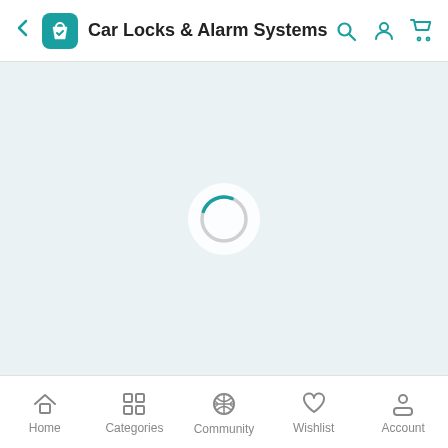Car Locks & Alarm Systems
[Figure (screenshot): Loading spinner (circular progress indicator) centered in a light blue-gray content area]
Home  Categories  Community  Wishlist  Account